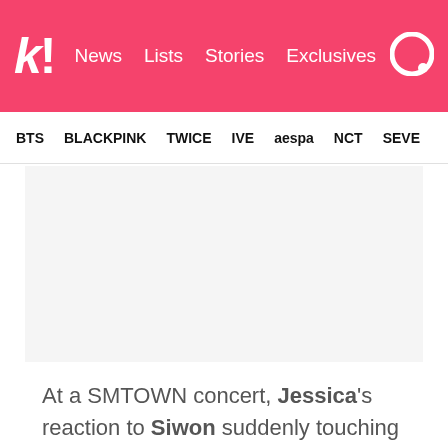kk! News  Lists  Stories  Exclusives
BTS  BLACKPINK  TWICE  IVE  aespa  NCT  SEVE
[Figure (other): Advertisement placeholder box (light gray background)]
At a SMTOWN concert, Jessica's reaction to Siwon suddenly touching her was caught on camera.
[Figure (other): Advertisement placeholder box (light gray background)]